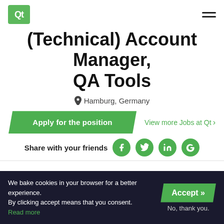Qt logo and navigation menu
(Technical) Account Manager, QA Tools
Hamburg, Germany
Apply for the position
View more Jobs at Qt >
Share with your friends
About the Role
We are looking for a (Technical) Account Manager for our Quality
We bake cookies in your browser for a better experience. By clicking accept means that you consent. Read more